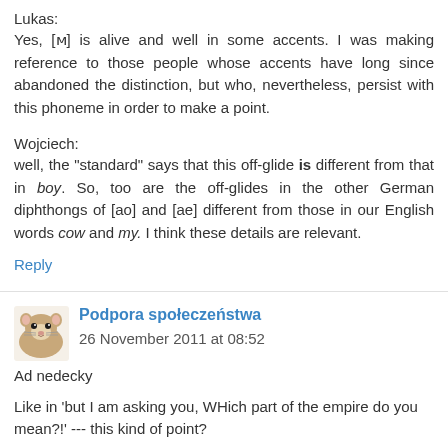Lukas:
Yes, [ᴍ] is alive and well in some accents. I was making reference to those people whose accents have long since abandoned the distinction, but who, nevertheless, persist with this phoneme in order to make a point.
Wojciech:
well, the "standard" says that this off-glide is different from that in boy. So, too are the off-glides in the other German diphthongs of [ao] and [ae] different from those in our English words cow and my. I think these details are relevant.
Reply
Podpora społeczeństwa 26 November 2011 at 08:52
Ad nedecky
Like in 'but I am asking you, WHich part of the empire do you mean?!' --- this kind of point?
Or maybe you are thinking of a more Scottish-ish, the more the...